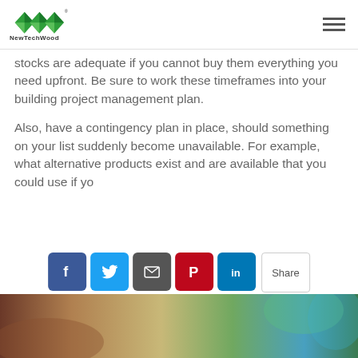NewTechWood
stocks are adequate if you cannot buy them everything you need upfront.  Be sure to work these timeframes into your building project management plan.
Also, have a contingency plan in place, should something on your list suddenly become unavailable.  For example, what alternative products exist and are available that you could use if yo...
[Figure (other): Social share buttons: Facebook, Twitter, Email, Pinterest, LinkedIn, and a Share label button]
[Figure (photo): Bottom partial image showing a building/outdoor scene with greenery and blue sky]